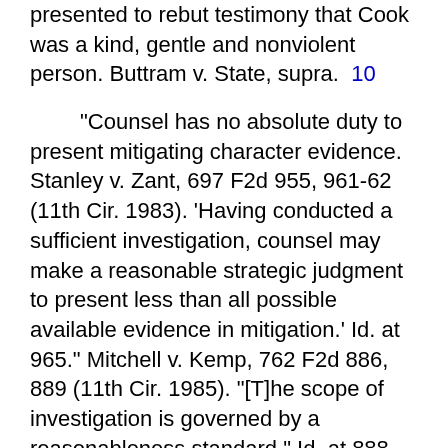presented to rebut testimony that Cook was a kind, gentle and nonviolent person. Buttram v. State, supra. 10
"Counsel has no absolute duty to present mitigating character evidence. Stanley v. Zant, 697 F2d 955, 961-62 (11th Cir. 1983). 'Having conducted a sufficient investigation, counsel may make a reasonable strategic judgment to present less than all possible available evidence in mitigation.' Id. at 965." Mitchell v. Kemp, 762 F2d 886, 889 (11th Cir. 1985). "[T]he scope of investigation is governed by a reasonableness standard." Id. at 888.
Gary's biggest problem with character evidence was